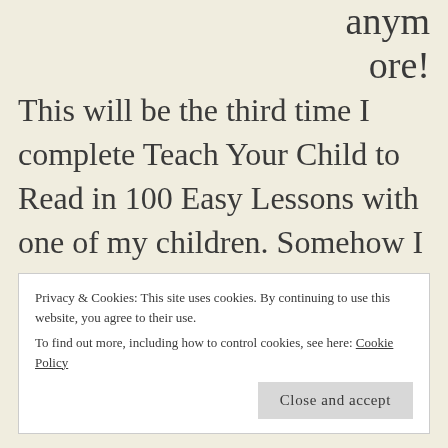anymore!
This will be the third time I complete Teach Your Child to Read in 100 Easy Lessons with one of my children. Somehow I feel it may be bitter sweet at the end. She is doing fabulously already! She was so excited to read the words at and me this week. One of the most amazing
Privacy & Cookies: This site uses cookies. By continuing to use this website, you agree to their use.
To find out more, including how to control cookies, see here: Cookie Policy
Close and accept